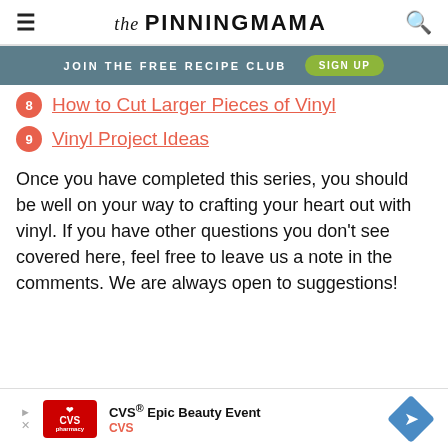The PINNING MAMA
JOIN THE FREE RECIPE CLUB  SIGN UP
8  How to Cut Larger Pieces of Vinyl
9  Vinyl Project Ideas
Once you have completed this series, you should be well on your way to crafting your heart out with vinyl. If you have other questions you don't see covered here, feel free to leave us a note in the comments. We are always open to suggestions!
[Figure (other): CVS Epic Beauty Event advertisement banner at bottom of page]